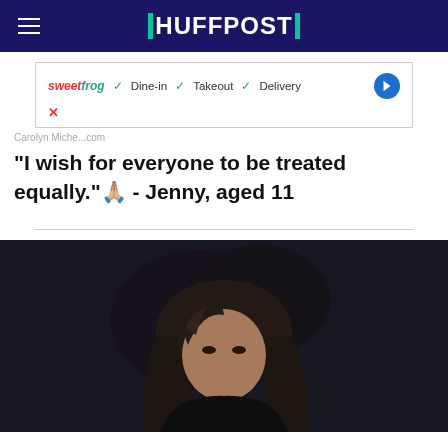HUFFPOST
[Figure (screenshot): Advertisement banner: SweetFrog logo with checkmarks for Dine-in, Takeout, Delivery and a blue navigation arrow icon, with a red X close button below]
Carolyn Miche...com
"I wish for everyone to be treated equally."🙏🏼 - Jenny, aged 11
[Figure (photo): Portrait photo of a young girl with dark hair against a dark background]